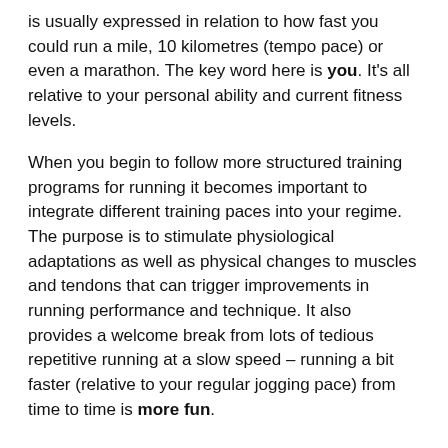is usually expressed in relation to how fast you could run a mile, 10 kilometres (tempo pace) or even a marathon. The key word here is you. It's all relative to your personal ability and current fitness levels.
When you begin to follow more structured training programs for running it becomes important to integrate different training paces into your regime. The purpose is to stimulate physiological adaptations as well as physical changes to muscles and tendons that can trigger improvements in running performance and technique. It also provides a welcome break from lots of tedious repetitive running at a slow speed – running a bit faster (relative to your regular jogging pace) from time to time is more fun.